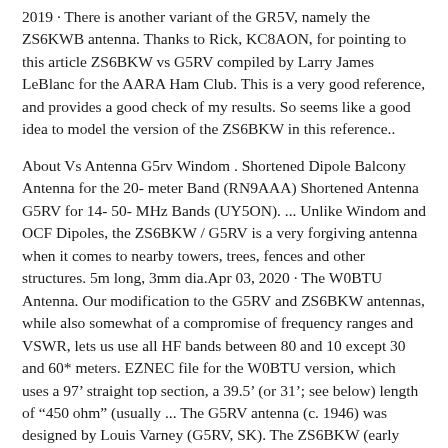2019 · There is another variant of the GR5V, namely the ZS6KWB antenna. Thanks to Rick, KC8AON, for pointing to this article ZS6BKW vs G5RV compiled by Larry James LeBlanc for the AARA Ham Club. This is a very good reference, and provides a good check of my results. So seems like a good idea to model the version of the ZS6BKW in this reference..
About Vs Antenna G5rv Windom . Shortened Dipole Balcony Antenna for the 20- meter Band (RN9AAA) Shortened Antenna G5RV for 14- 50- MHz Bands (UY5ON). ... Unlike Windom and OCF Dipoles, the ZS6BKW / G5RV is a very forgiving antenna when it comes to nearby towers, trees, fences and other structures. 5m long, 3mm dia.Apr 03, 2020 · The W0BTU Antenna. Our modification to the G5RV and ZS6BKW antennas, while also somewhat of a compromise of frequency ranges and VSWR, lets us use all HF bands between 80 and 10 except 30 and 60* meters. EZNEC file for the W0BTU version, which uses a 97’ straight top section, a 39.5’ (or 31’; see below) length of “450 ohm” (usually ... The G5RV antenna (c. 1946) was designed by Louis Varney (G5RV, SK). The ZS6BKW (early 1980’s) was derived from the G5RV by Brian Austin (G0GSF, formerly ZS6BKW). He developed computer programs that were used in conjunction with Smith charts to calculate the optimum dimensions for his variant of the antenna.